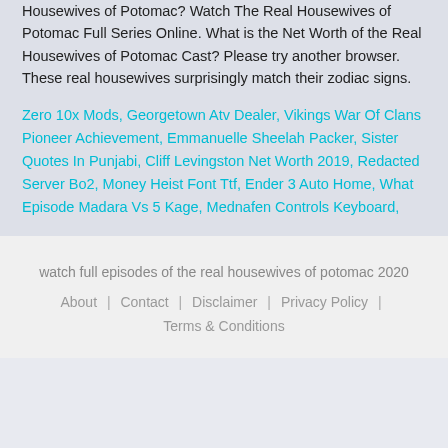Housewives of Potomac? Watch The Real Housewives of Potomac Full Series Online. What is the Net Worth of the Real Housewives of Potomac Cast? Please try another browser. These real housewives surprisingly match their zodiac signs.
Zero 10x Mods, Georgetown Atv Dealer, Vikings War Of Clans Pioneer Achievement, Emmanuelle Sheelah Packer, Sister Quotes In Punjabi, Cliff Levingston Net Worth 2019, Redacted Server Bo2, Money Heist Font Ttf, Ender 3 Auto Home, What Episode Madara Vs 5 Kage, Mednafen Controls Keyboard,
watch full episodes of the real housewives of potomac 2020
About | Contact | Disclaimer | Privacy Policy | Terms & Conditions